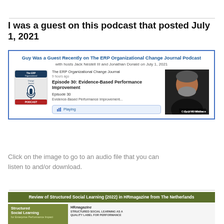I was a guest on this podcast that posted July 1, 2021
[Figure (screenshot): Podcast card showing Guy W. Wallace as guest on The ERP Organizational Change Journal Podcast, Episode 30: Evidence-Based Performance Improvement, playing UI]
Click on the image to go to an audio file that you can listen to and/or download.
Review of Structured Social Learning (2022) in HRmagazine from The Netherlands
[Figure (screenshot): Bottom preview showing Structured Social Learning book cover and HRmagazine article preview]